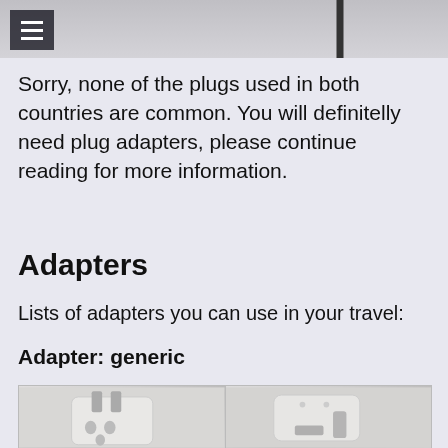[Figure (photo): Top portion of a page showing a partial photo of travel adapters/plugs on a light background, with a hamburger menu icon in the top-left corner.]
Sorry, none of the plugs used in both countries are common. You will definitelly need plug adapters, please continue reading for more information.
Adapters
Lists of adapters you can use in your travel:
Adapter: generic
[Figure (photo): Two photos of generic travel plug adapters side by side. Left photo shows a white universal travel adapter with multiple plug types. Right photo shows another white travel adapter with a two-pin plug.]